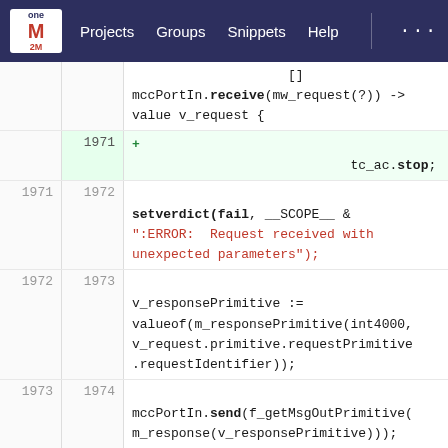oneM2M | Projects | Groups | Snippets | Help
[Figure (screenshot): Code diff viewer showing TTCN-3 source code with line numbers, added line highlighted in green, showing setverdict(fail), string error, v_responsePrimitive assignment, and mccPortIn.send call.]